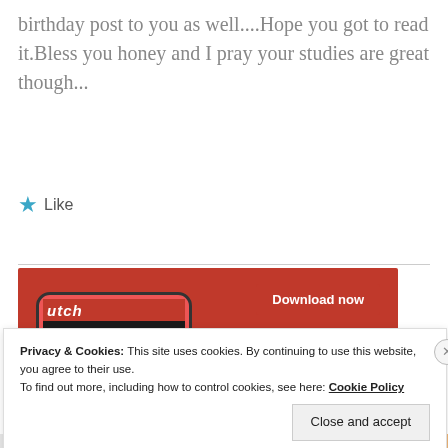birthday post to you as well....Hope you got to read it.Bless you honey and I pray your studies are great though...
[Figure (other): Like button with teal star icon]
[Figure (photo): Advertisement showing a smartphone with a podcast/audio app on a red background with 'Download now' button]
Privacy & Cookies: This site uses cookies. By continuing to use this website, you agree to their use.
To find out more, including how to control cookies, see here: Cookie Policy
Close and accept